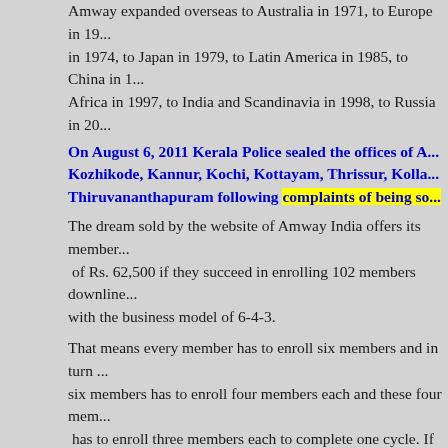Amway expanded overseas to Australia in 1971, to Europe in 19... in 1974, to Japan in 1979, to Latin America in 1985, to China in 1... Africa in 1997, to India and Scandinavia in 1998, to Russia in 20...
On August 6, 2011 Kerala Police sealed the offices of A... Kozhikode, Kannur, Kochi, Kottayam, Thrissur, Kolla... Thiruvananthapuram following complaints of being so...
The dream sold by the website of Amway India offers its member... of Rs. 62,500 if they succeed in enrolling 102 members downline... with the business model of 6-4-3.
That means every member has to enroll six members and in turn ... six members has to enroll four members each and these four mem... has to enroll three members each to complete one cycle. If the cy... the first member would earn every month Rs. 62,500 without any... Greed is quite common weakness in humans and MLM companie... effectively target that and most people don't find any fault as such... and easily fall pray.
QNet ltd, formerly known as QuestNet, GoldQuest, and QI Limit...